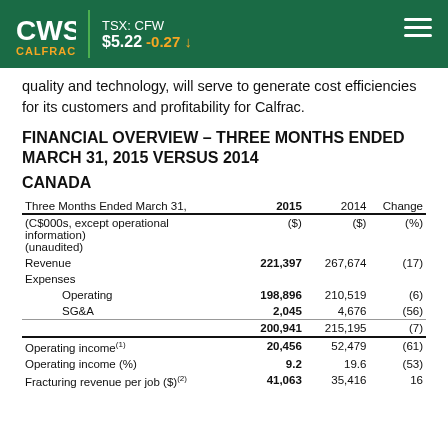TSX: CFW $5.22 -0.27
quality and technology, will serve to generate cost efficiencies for its customers and profitability for Calfrac.
FINANCIAL OVERVIEW – THREE MONTHS ENDED MARCH 31, 2015 VERSUS 2014
CANADA
| Three Months Ended March 31, | 2015 | 2014 | Change |
| --- | --- | --- | --- |
| (C$000s, except operational information) (unaudited) | ($) | ($) | (%) |
| Revenue | 221,397 | 267,674 | (17) |
| Expenses |  |  |  |
| Operating | 198,896 | 210,519 | (6) |
| SG&A | 2,045 | 4,676 | (56) |
|  | 200,941 | 215,195 | (7) |
| Operating income(1) | 20,456 | 52,479 | (61) |
| Operating income (%) | 9.2 | 19.6 | (53) |
| Fracturing revenue per job ($)(2) | 41,063 | 35,416 | 16 |